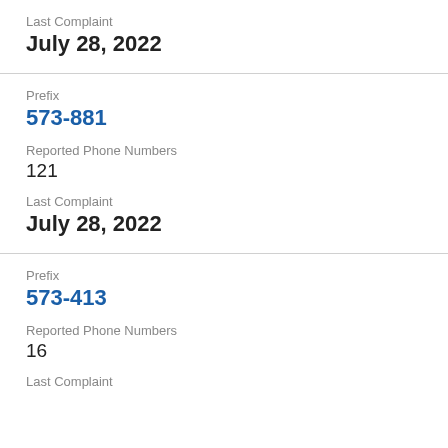Last Complaint
July 28, 2022
Prefix
573-881
Reported Phone Numbers
121
Last Complaint
July 28, 2022
Prefix
573-413
Reported Phone Numbers
16
Last Complaint